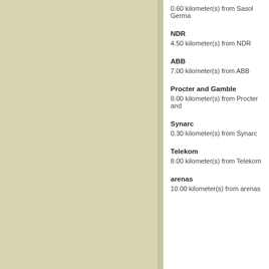0.60 kilometer(s) from Sasol Germa
NDR
4.50 kilometer(s) from NDR
ABB
7.00 kilometer(s) from ABB
Procter and Gamble
8.00 kilometer(s) from Procter and
Synarc
0.30 kilometer(s) from Synarc
Telekom
8.00 kilometer(s) from Telekom
arenas
10.00 kilometer(s) from arenas